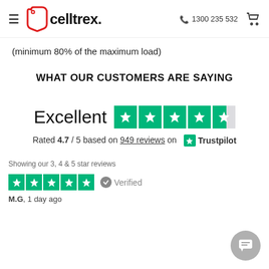celltrex. | 1300 235 532
(minimum 80% of the maximum load)
WHAT OUR CUSTOMERS ARE SAYING
[Figure (other): Trustpilot rating: Excellent, 4.7/5 based on 949 reviews. Shows 4.5 green stars and Trustpilot logo.]
Showing our 3, 4 & 5 star reviews
Verified
M.G, 1 day ago